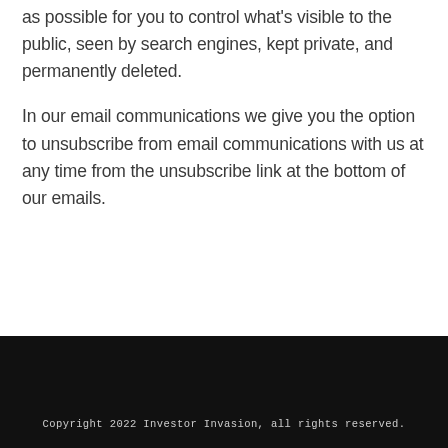as possible for you to control what's visible to the public, seen by search engines, kept private, and permanently deleted.
In our email communications we give you the option to unsubscribe from email communications with us at any time from the unsubscribe link at the bottom of our emails.
Copyright 2022 Investor Invasion, all rights reserved.